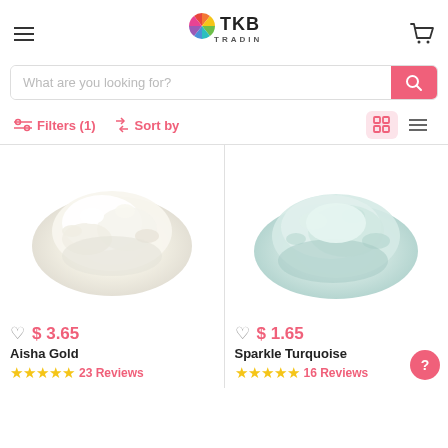[Figure (logo): TKB Trading logo with colorful pinwheel icon and text 'TKB TRADING']
What are you looking for?
Filters (1)   Sort by
[Figure (photo): White/cream loose mineral powder (Aisha Gold) shown as a pile on white background]
[Figure (photo): Light green/turquoise loose mineral powder (Sparkle Turquoise) shown as a pile on white background]
♡ $3.65
Aisha Gold
23 Reviews
♡ $1.65
Sparkle Turquoise
16 Reviews